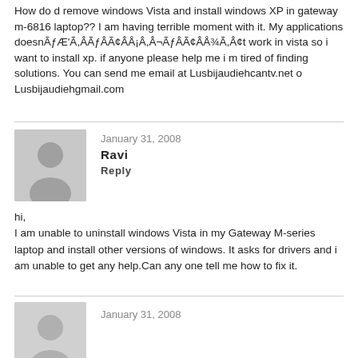How do d remove windows Vista and install windows XP in gateway m-6816 laptop?? I am having terrible moment with it. My applications doesnÃƒÆ'Ã,ÂÃƒÂÃ¢ÂÅ¡Â,Â¬ÃƒÂÃ¢ÂÅ¾Ã,Â¢t work in vista so i want to install xp. if anyone please help me i m tired of finding solutions. You can send me email at Lusbijaudiehcantv.net o Lusbijaudiehgmail.com
January 31, 2008
Ravi
Reply

hi,
I am unable to uninstall windows Vista in my Gateway M-series laptop and install other versions of windows. It asks for drivers and i am unable to get any help.Can any one tell me how to fix it.
January 31, 2008